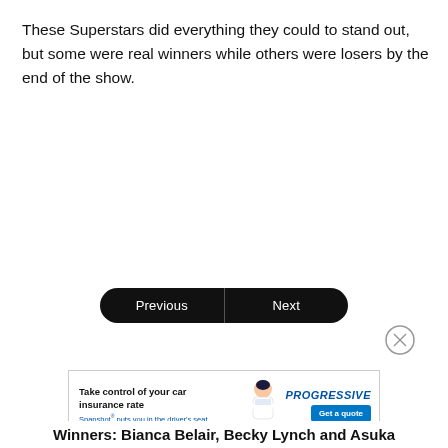These Superstars did everything they could to stand out, but some were real winners while others were losers by the end of the show.
[Figure (other): Navigation UI with Previous and Next buttons (pill-shaped, black background) and a close (X) circle button]
[Figure (other): Progressive Insurance advertisement banner: 'Take control of your car insurance rate. Snapshot puts you in the driver's seat.' with Get a quote button and animated character graphic]
Winners: Bianca Belair, Becky Lynch and Asuka